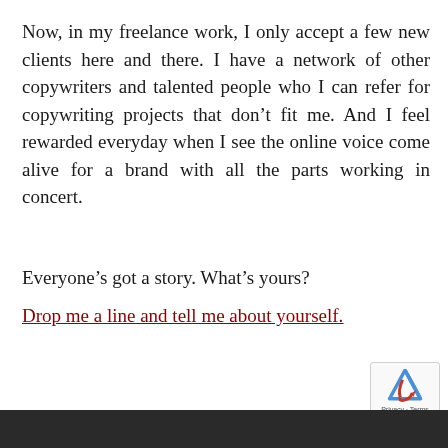Now, in my freelance work, I only accept a few new clients here and there. I have a network of other copywriters and talented people who I can refer for copywriting projects that don’t fit me. And I feel rewarded everyday when I see the online voice come alive for a brand with all the parts working in concert.
Everyone’s got a story. What’s yours?
Drop me a line and tell me about yourself.
Privacy · Terms